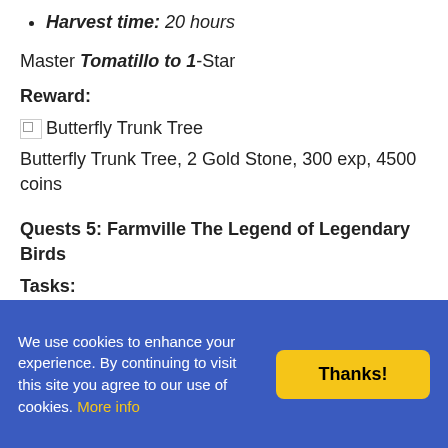Harvest time: 20 hours
Master Tomatillo to 1-Star
Reward:
[Figure (illustration): Butterfly Trunk Tree image thumbnail]
Butterfly Trunk Tree, 2 Gold Stone, 300 exp, 4500 coins
Quests 5: Farmville The Legend of Legendary Birds
Tasks:
Get 10 Legendary Gloves
Harvest 100 Chavote
We use cookies to enhance your experience. By continuing to visit this site you agree to our use of cookies. More info